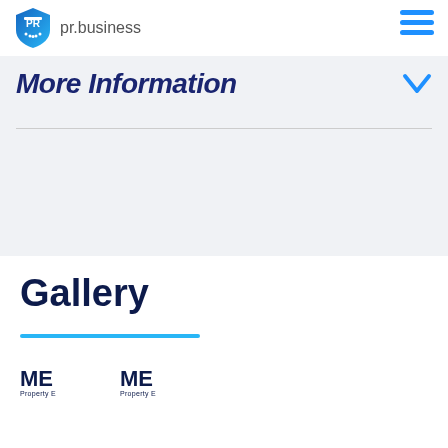pr.business
More Information
Gallery
[Figure (logo): ME Property logo badge 1]
[Figure (logo): ME Property logo badge 2]